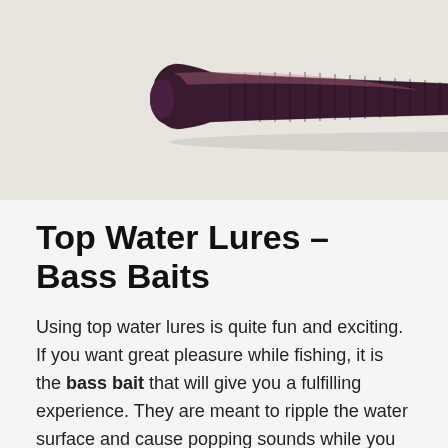[Figure (photo): Close-up photo of a dark purple/black ribbed soft plastic fishing lure (worm bait) on a white background]
Top Water Lures – Bass Baits
Using top water lures is quite fun and exciting. If you want great pleasure while fishing, it is the bass bait that will give you a fulfilling experience. They are meant to ripple the water surface and cause popping sounds while you wait to hit their target. They have a cupped lip that produces the popping sound that is recognizable by the bass. The bass will get out of the water trying to reach for the bait and angler gets the pleasure to watch it engulfing the bait. One of the most recommended is Rapala